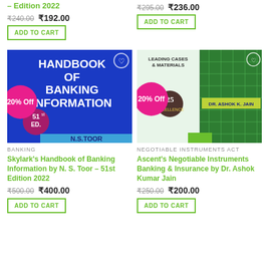– Edition 2022 ₹240.00 ₹192.00
ADD TO CART
₹295.00 ₹236.00
ADD TO CART
[Figure (photo): Book cover: Handbook of Banking Information by N.S. Toor, 51st Edition, blue cover with 20% Off badge]
BANKING
Skylark's Handbook of Banking Information by N. S. Toor – 51st Edition 2022
₹500.00 ₹400.00
ADD TO CART
[Figure (photo): Book cover: Leading Cases & Materials – Ascent's Negotiable Instruments Banking & Insurance by Dr. Ashok K. Jain, green plaid cover with 20% Off badge]
NEGOTIABLE INSTRUMENTS ACT
Ascent's Negotiable Instruments Banking & Insurance by Dr. Ashok Kumar Jain
₹250.00 ₹200.00
ADD TO CART